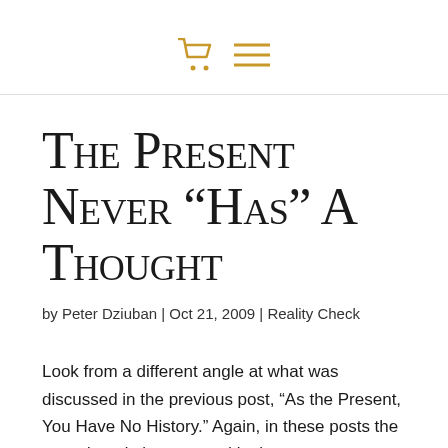🛒 ≡
The Present Never “Has” A Thought
by Peter Dziuban | Oct 21, 2009 | Reality Check
Look from a different angle at what was discussed in the previous post, “As the Present, You Have No History.” Again, in these posts the term thought is now used in the